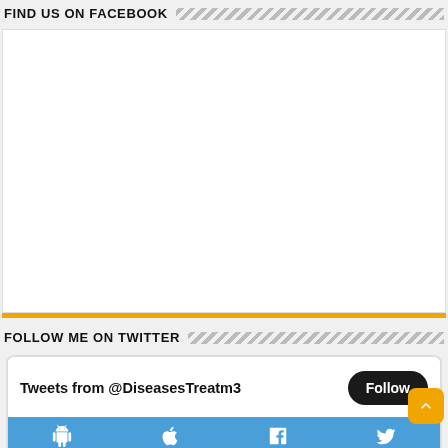FIND US ON FACEBOOK
[Figure (other): Empty Facebook widget embed area with white background and orange bottom border]
FOLLOW ME ON TWITTER
[Figure (screenshot): Twitter widget showing 'Tweets from @DiseasesTreatm3' with a Follow button and social media icon bar at the bottom in blue, with Diseases Treatment account info and Jul 3 date]
Diseases Treatment
@Diseas
Jul 3